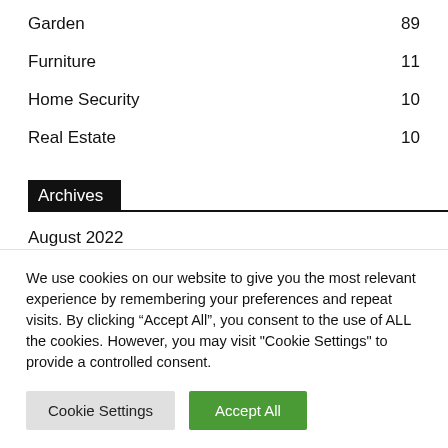Garden 89
Furniture 11
Home Security 10
Real Estate 10
Archives
August 2022
July 2022
We use cookies on our website to give you the most relevant experience by remembering your preferences and repeat visits. By clicking “Accept All”, you consent to the use of ALL the cookies. However, you may visit "Cookie Settings" to provide a controlled consent.
Cookie Settings | Accept All